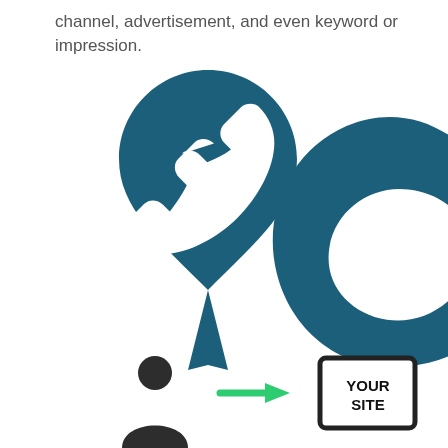channel, advertisement, and even keyword or impression.
[Figure (illustration): A dark teal map pin icon with a white telephone handset symbol inside it, positioned on the left side of the page. On the right side, a partial dark teal letter C shape.]
[Figure (illustration): Bottom of page: a dark person/user icon on the left, a green right-pointing arrow in the middle, and a 'YOUR SITE' sign icon on the right.]